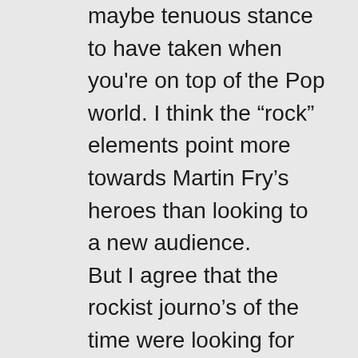maybe tenuous stance to have taken when you're on top of the Pop world. I think the “rock” elements point more towards Martin Fry’s heroes than looking to a new audience. But I agree that the rockist journo’s of the time were looking for their own relevance in an increasing environment of multiple pop and rock trends. Journalists at NME and Melody Maker were more concerned with building up and tearing down artists, especially from...